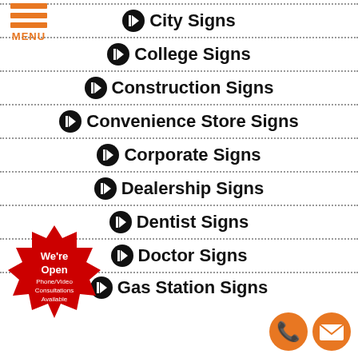[Figure (logo): Orange hamburger menu icon with three horizontal bars and MENU text in orange]
City Signs
College Signs
Construction Signs
Convenience Store Signs
Corporate Signs
Dealership Signs
Dentist Signs
Doctor Signs
Gas Station Signs
[Figure (infographic): Red starburst badge with We're Open text and Phone/Video Consultations Available]
[Figure (infographic): Orange phone icon circle and orange email envelope icon circle]